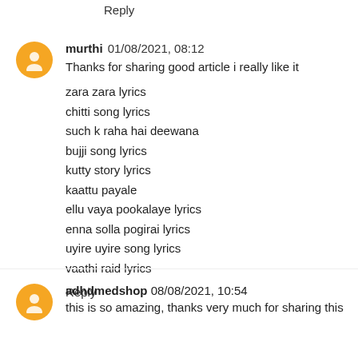Reply
murthi 01/08/2021, 08:12
Thanks for sharing good article i really like it
zara zara lyrics
chitti song lyrics
such k raha hai deewana
bujji song lyrics
kutty story lyrics
kaattu payale
ellu vaya pookalaye lyrics
enna solla pogirai lyrics
uyire uyire song lyrics
vaathi raid lyrics
Reply
adhdmedshop 08/08/2021, 10:54
this is so amazing, thanks very much for sharing this